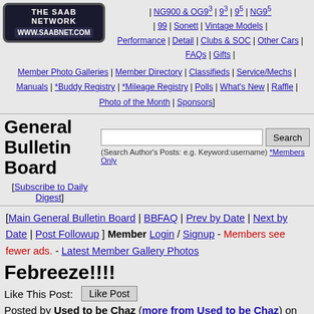[Figure (logo): The Saab Network logo with www.saabnet.com]
NG900 & OG93 | 93 | 95 | NG95 | 99 | Sonett | Vintage Models | Performance | Detail | Clubs & SOC | Other Cars | FAQs | Gifts |
Member Photo Galleries | Member Directory | Classifieds | Service/Mechs | Manuals | *Buddy Registry | *Mileage Registry | Polls | What's New | Raffle | Photo of the Month | Sponsors]
General Bulletin Board
[Subscribe to Daily Digest]
(Search Author's Posts: e.g. Keyword:username) *Members Only
[Main General Bulletin Board | BBFAQ | Prev by Date | Next by Date | Post Followup ] Member Login / Signup - Members see fewer ads. - Latest Member Gallery Photos
Febreeze!!!!
Like This Post: [Like Post]
Posted by Used to be Chaz (more from Used to be Chaz) on Thu, 25 Sep 2014 08:26:59
In Reply to: OT: Ozone generators - odor removal., B Millar [Profile/Gallery] , Mon, 22 Sep 2014 07:53:42